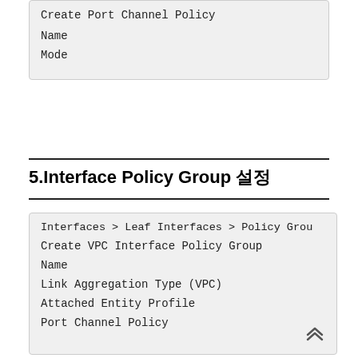Create Port Channel Policy
Name
Mode
5.Interface Policy Group 설정
Interfaces > Leaf Interfaces > Policy Grou
Create VPC Interface Policy Group
Name
Link Aggregation Type (VPC)
Attached Entity Profile
Port Channel Policy